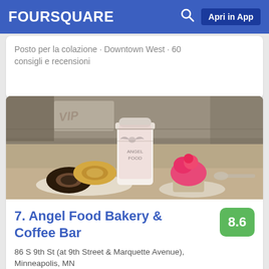FOURSQUARE  Apri in App
Posto per la colazione · Downtown West · 60 consigli e recensioni
[Figure (photo): Photo of Angel Food Bakery interior showing donuts, a branded coffee cup, and a cupcake with pink frosting on a counter]
7. Angel Food Bakery & Coffee Bar
86 S 9th St (at 9th Street & Marquette Avenue), Minneapolis, MN
Panetteria · Downtown West · 25 consigli e recensioni